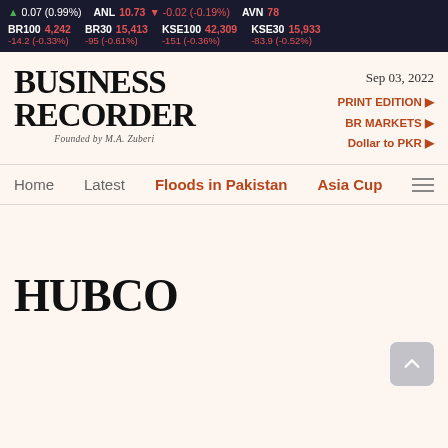▲ 0.07 (0.99%)   ANL 10.73 ▼ -0.02 (-0.19%)   AVN 78   BR100 4,242 -14.2 (-0.33%)   BR30 15,413 -95 (-0.61%)   KSE100 42,309 -151 (-0.36%)   KSE30 15,933 -83.9 (-0.52%)
[Figure (logo): Business Recorder logo - Founded by M.A. Zuberi]
Sep 03, 2022
PRINT EDITION ► BR MARKETS ► Dollar to PKR ►
Home   Latest   Floods in Pakistan   Asia Cup
HUBCO